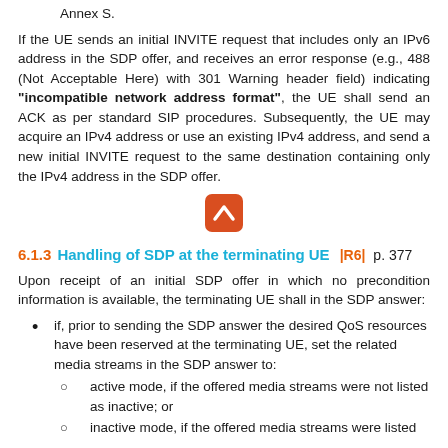Annex S.
If the UE sends an initial INVITE request that includes only an IPv6 address in the SDP offer, and receives an error response (e.g., 488 (Not Acceptable Here) with 301 Warning header field) indicating "incompatible network address format", the UE shall send an ACK as per standard SIP procedures. Subsequently, the UE may acquire an IPv4 address or use an existing IPv4 address, and send a new initial INVITE request to the same destination containing only the IPv4 address in the SDP offer.
[Figure (other): Orange rounded square button with upward chevron arrow icon]
6.1.3 Handling of SDP at the terminating UE |R6| p. 377
Upon receipt of an initial SDP offer in which no precondition information is available, the terminating UE shall in the SDP answer:
if, prior to sending the SDP answer the desired QoS resources have been reserved at the terminating UE, set the related media streams in the SDP answer to:
active mode, if the offered media streams were not listed as inactive; or
inactive mode, if the offered media streams were listed